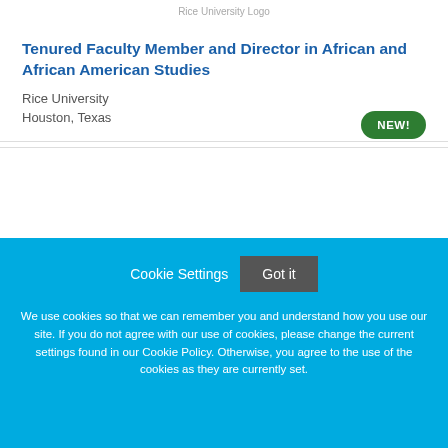Rice University Logo
Tenured Faculty Member and Director in African and African American Studies
Rice University
Houston, Texas
NEW!
Cookie Settings   Got it
We use cookies so that we can remember you and understand how you use our site. If you do not agree with our use of cookies, please change the current settings found in our Cookie Policy. Otherwise, you agree to the use of the cookies as they are currently set.